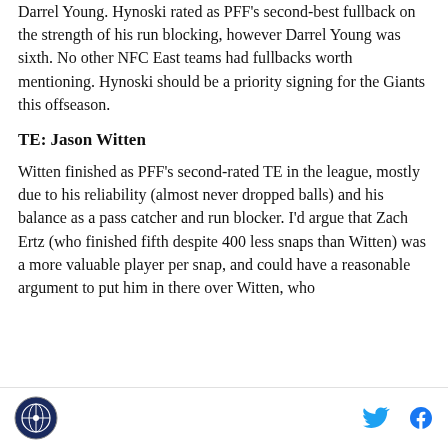Darrel Young. Hynoski rated as PFF's second-best fullback on the strength of his run blocking, however Darrel Young was sixth. No other NFC East teams had fullbacks worth mentioning. Hynoski should be a priority signing for the Giants this offseason.
TE: Jason Witten
Witten finished as PFF's second-rated TE in the league, mostly due to his reliability (almost never dropped balls) and his balance as a pass catcher and run blocker. I'd argue that Zach Ertz (who finished fifth despite 400 less snaps than Witten) was a more valuable player per snap, and could have a reasonable argument to put him in there over Witten, who